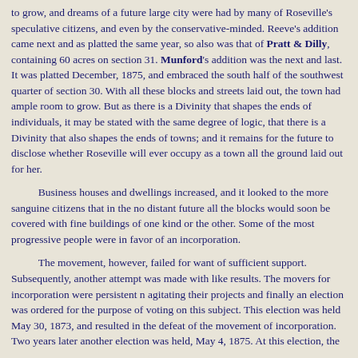to grow, and dreams of a future large city were had by many of Roseville's speculative citizens, and even by the conservative-minded. Reeve's addition came next and as platted the same year, so also was that of Pratt & Dilly, containing 60 acres on section 31. Munford's addition was the next and last. It was platted December, 1875, and embraced the south half of the southwest quarter of section 30. With all these blocks and streets laid out, the town had ample room to grow. But as there is a Divinity that shapes the ends of individuals, it may be stated with the same degree of logic, that there is a Divinity that also shapes the ends of towns; and it remains for the future to disclose whether Roseville will ever occupy as a town all the ground laid out for her.
Business houses and dwellings increased, and it looked to the more sanguine citizens that in the no distant future all the blocks would soon be covered with fine buildings of one kind or the other. Some of the most progressive people were in favor of an incorporation.
The movement, however, failed for want of sufficient support. Subsequently, another attempt was made with like results. The movers for incorporation were persistent n agitating their projects and finally an election was ordered for the purpose of voting on this subject. This election was held May 30, 1873, and resulted in the defeat of the movement of incorporation. Two years later another election was held, May 4, 1875. At this election, the